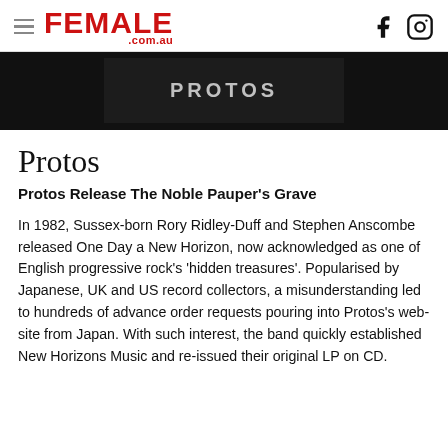FEMALE .com.au
[Figure (photo): Dark band promotional image with the word PROTOS in grey letters on a dark background]
Protos
Protos Release The Noble Pauper's Grave
In 1982, Sussex-born Rory Ridley-Duff and Stephen Anscombe released One Day a New Horizon, now acknowledged as one of English progressive rock's 'hidden treasures'. Popularised by Japanese, UK and US record collectors, a misunderstanding led to hundreds of advance order requests pouring into Protos's web-site from Japan. With such interest, the band quickly established New Horizons Music and re-issued their original LP on CD.